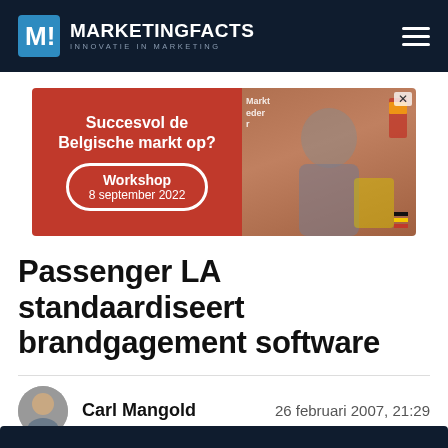MARKETINGFACTS INNOVATIE IN MARKETING
[Figure (illustration): Advertisement banner: red background left side with text 'Succesvol de Belgische markt op? Workshop 8 september 2022', right side shows a man presenting in front of a screen.]
Passenger LA standaardiseert brandgagement software
Carl Mangold   26 februari 2007, 21:29